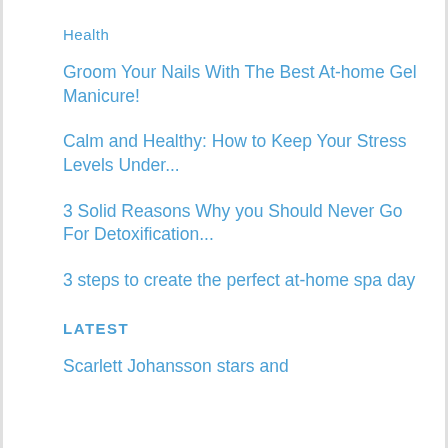Health
Groom Your Nails With The Best At-home Gel Manicure!
Calm and Healthy: How to Keep Your Stress Levels Under...
3 Solid Reasons Why you Should Never Go For Detoxification...
3 steps to create the perfect at-home spa day
LATEST
Scarlett Johansson stars and